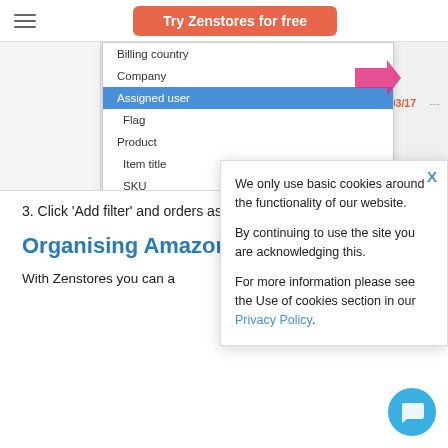[Figure (screenshot): Header bar with hamburger menu and orange 'Try Zenstores for free' button]
[Figure (screenshot): Dropdown menu showing: Billing country, Company, Assigned user (highlighted in blue), Flag, Product, Item title, SKU. A pink arrow points at Assigned user. Date 13/03/17 visible to the right.]
3. Click ‘Add filter’ and orders assigned to th
Organising Amazon o
With Zenstores you can a
[Figure (screenshot): Cookie consent popup with X close button. Text: We only use basic cookies around the functionality of our website. By continuing to use the site you are acknowledging this. For more information please see the Use of cookies section in our Privacy Policy.]